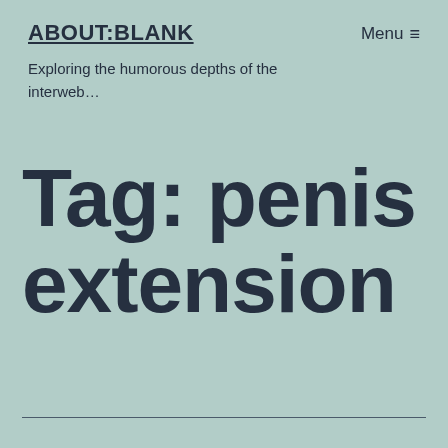ABOUT:BLANK
Menu ≡
Exploring the humorous depths of the interweb…
Tag: penis extension